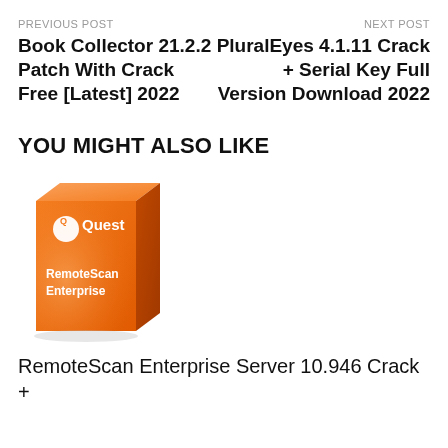PREVIOUS POST
Book Collector 21.2.2 Patch With Crack Free [Latest] 2022
NEXT POST
PluralEyes 4.1.11 Crack + Serial Key Full Version Download 2022
YOU MIGHT ALSO LIKE
[Figure (photo): Quest RemoteScan Enterprise software box product image, orange colored box with white Quest logo and RemoteScan Enterprise text]
RemoteScan Enterprise Server 10.946 Crack +